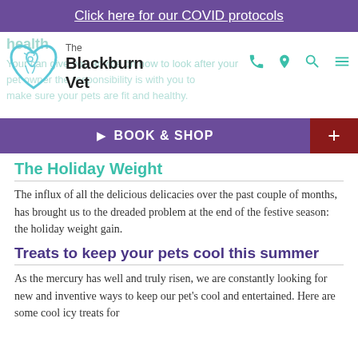Click here for our COVID protocols
[Figure (logo): The Blackburn Vet logo with blue heart/pet outline and text 'The Blackburn Vet']
health
Your can give you advice on how to look after your pet owner the responsibility is with you to make sure your pets are fit and healthy.
BOOK & SHOP
The Holiday Weight
The influx of all the delicious delicacies over the past couple of months, has brought us to the dreaded problem at the end of the festive season: the holiday weight gain.
Treats to keep your pets cool this summer
As the mercury has well and truly risen, we are constantly looking for new and inventive ways to keep our pet's cool and entertained. Here are some cool icy treats for